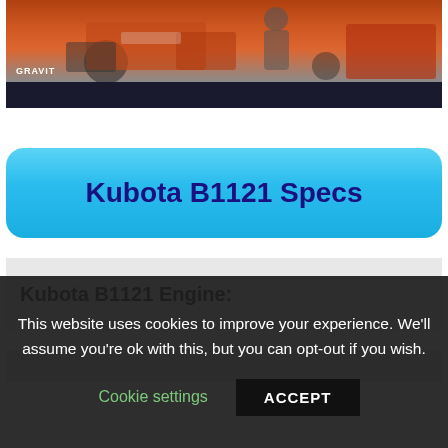[Figure (photo): Photo of a Kubota tractor (orange/red) with a person standing beside it outdoors. GRAVIT logo visible in lower left of photo. Dark bar at bottom of photo area.]
Kubota B1121 Specs
Kubota B1121 Engine:
This website uses cookies to improve your experience. We'll assume you're ok with this, but you can opt-out if you wish.
Cookie settings   ACCEPT